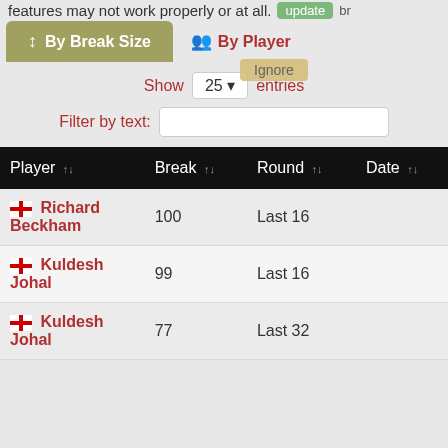features may not work properly or at all.
By Break Size | By Player
Show 25 entries
Filter by text:
| Player | Break | Round | Date |
| --- | --- | --- | --- |
| Richard Beckham | 100 | Last 16 |  |
| Kuldesh Johal | 99 | Last 16 |  |
| Kuldesh Johal | 77 | Last 32 |  |